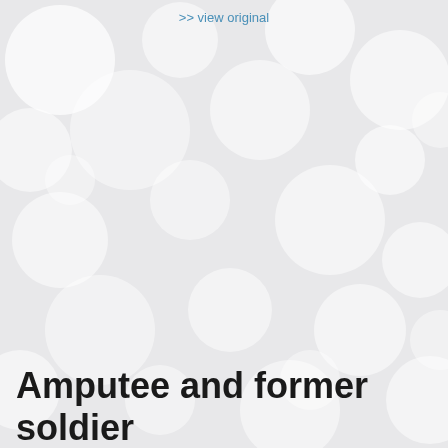>> view original
[Figure (photo): Bokeh light effect background — large soft white/light grey circles on a light grey background, giving a dreamy out-of-focus appearance]
Amputee and former soldier